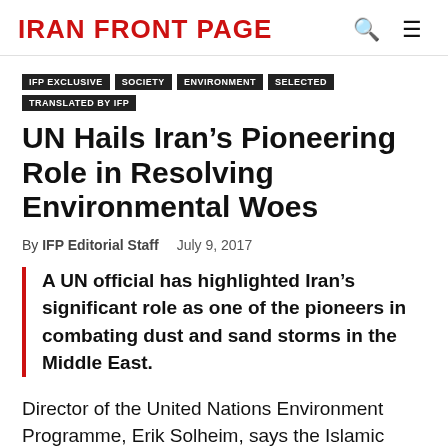IRAN FRONT PAGE
IFP EXCLUSIVE  SOCIETY  ENVIRONMENT  SELECTED  TRANSLATED BY IFP
UN Hails Iran's Pioneering Role in Resolving Environmental Woes
By IFP Editorial Staff   July 9, 2017
A UN official has highlighted Iran's significant role as one of the pioneers in combating dust and sand storms in the Middle East.
Director of the United Nations Environment Programme, Erik Solheim, says the Islamic